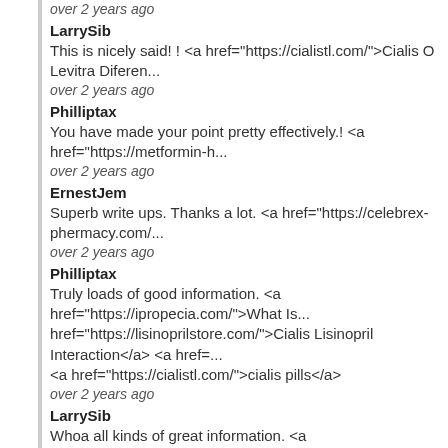over 2 years ago
LarrySib
This is nicely said! ! <a href="https://cialistl.com/">Cialis O Levitra Difer...
over 2 years ago
Philliptax
You have made your point pretty effectively.! <a href="https://metformin-h...
over 2 years ago
ErnestJem
Superb write ups. Thanks a lot. <a href="https://celebrex-phermacy.com/...
over 2 years ago
Philliptax
Truly loads of good information. <a href="https://ipropecia.com/">What Is... href="https://lisinoprilstore.com/">Cialis Lisinopril Interaction</a> <a href=... <a href="https://cialistl.com/">cialis pills</a>
over 2 years ago
LarrySib
Whoa all kinds of great information. <a href="https://augmentin4u.com/">...
over 2 years ago
LarrySib
With thanks. Lots of data. <a href="https://larapropecia.com/">Propecia R...
over 2 years ago
Philliptax
Nicely put. With thanks. <a href="https://celebrex-phermacy.com/">Celeb...